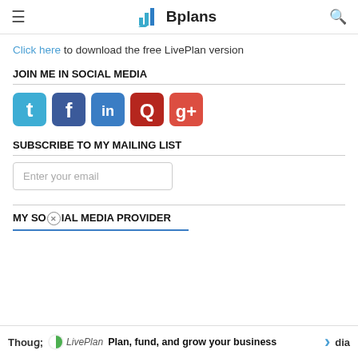Bplans
Click here to download the free LivePlan version
JOIN ME IN SOCIAL MEDIA
[Figure (other): Social media icons: Twitter, Facebook, LinkedIn, Quora, Google+]
SUBSCRIBE TO MY MAILING LIST
Enter your email
MY SOCIAL MEDIA PROVIDER
Though ... dia
Plan, fund, and grow your business